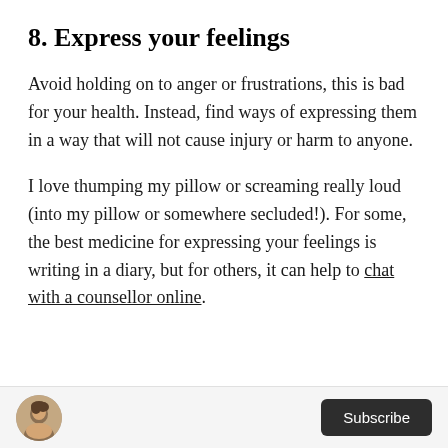8. Express your feelings
Avoid holding on to anger or frustrations, this is bad for your health. Instead, find ways of expressing them in a way that will not cause injury or harm to anyone.
I love thumping my pillow or screaming really loud (into my pillow or somewhere secluded!). For some, the best medicine for expressing your feelings is writing in a diary, but for others, it can help to chat with a counsellor online.
[Figure (photo): Small circular avatar photo of a person]
Subscribe